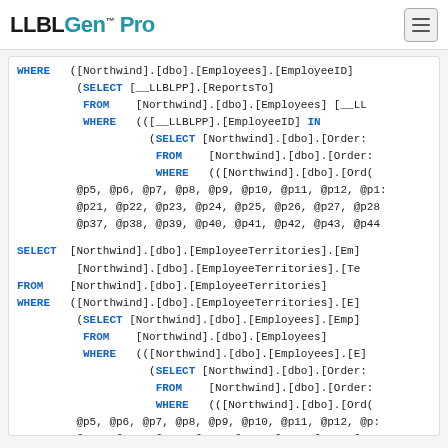LLBLGen Pro
SQL code block showing WHERE clauses with nested SELECT statements referencing Northwind database Employees, Orders, and EmployeeTerritories tables with parameter lists @p5 through @p44
SELECT block for EmployeeTerritories with nested WHERE/SELECT subqueries referencing Employees and Orders tables with parameter lists